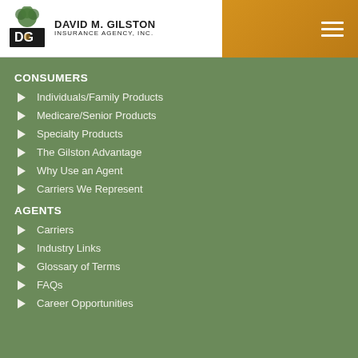[Figure (logo): David M. Gilston Insurance Agency, Inc. logo with tree emblem and DG icon]
CONSUMERS
Individuals/Family Products
Medicare/Senior Products
Specialty Products
The Gilston Advantage
Why Use an Agent
Carriers We Represent
AGENTS
Carriers
Industry Links
Glossary of Terms
FAQs
Career Opportunities